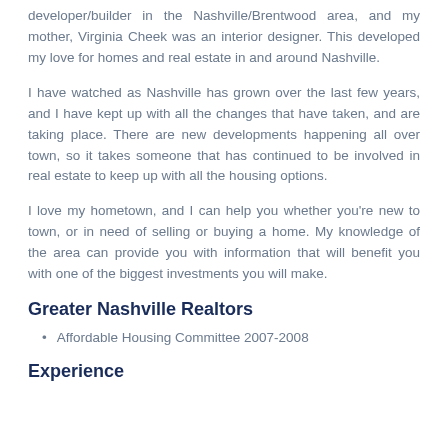developer/builder in the Nashville/Brentwood area, and my mother, Virginia Cheek was an interior designer. This developed my love for homes and real estate in and around Nashville.
I have watched as Nashville has grown over the last few years, and I have kept up with all the changes that have taken, and are taking place. There are new developments happening all over town, so it takes someone that has continued to be involved in real estate to keep up with all the housing options.
I love my hometown, and I can help you whether you're new to town, or in need of selling or buying a home. My knowledge of the area can provide you with information that will benefit you with one of the biggest investments you will make.
Greater Nashville Realtors
Affordable Housing Committee 2007-2008
Experience